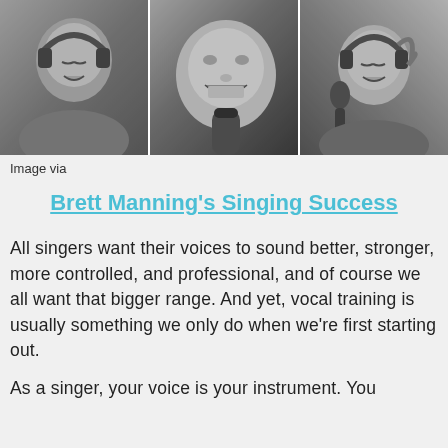[Figure (photo): Three black and white photos of a male singer with headphones singing into a microphone, arranged side by side in a horizontal strip.]
Image via
Brett Manning's Singing Success
All singers want their voices to sound better, stronger, more controlled, and professional, and of course we all want that bigger range. And yet, vocal training is usually something we only do when we're first starting out.
As a singer, your voice is your instrument. You